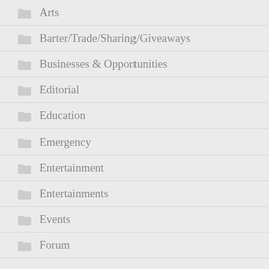Arts
Barter/Trade/Sharing/Giveaways
Businesses & Opportunities
Editorial
Education
Emergency
Entertainment
Entertainments
Events
Forum